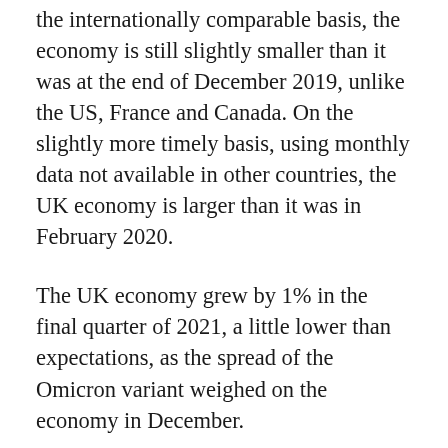the internationally comparable basis, the economy is still slightly smaller than it was at the end of December 2019, unlike the US, France and Canada. On the slightly more timely basis, using monthly data not available in other countries, the UK economy is larger than it was in February 2020.
The UK economy grew by 1% in the final quarter of 2021, a little lower than expectations, as the spread of the Omicron variant weighed on the economy in December.
But as ever during these extraordinary times, this already looks like a rear view mirror on events. Looking forward, the extraordinary cost